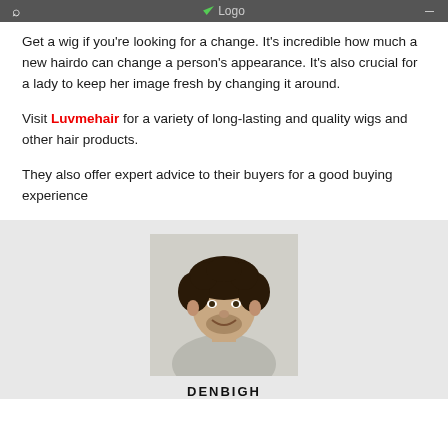Logo
Get a wig if you're looking for a change. It's incredible how much a new hairdo can change a person's appearance. It's also crucial for a lady to keep her image fresh by changing it around.
Visit Luvmehair for a variety of long-lasting and quality wigs and other hair products.
They also offer expert advice to their buyers for a good buying experience
[Figure (photo): Portrait photo of a smiling man with curly dark hair and beard, wearing a light grey sweater]
DENBЕIGH